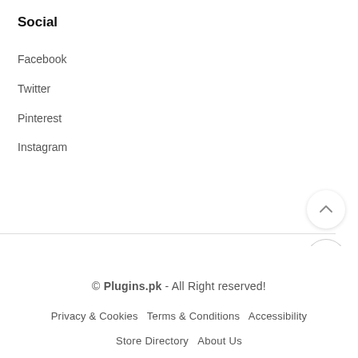Social
Facebook
Twitter
Pinterest
Instagram
© Plugins.pk - All Right reserved!
Privacy & Cookies   Terms & Conditions   Accessibility
Store Directory   About Us